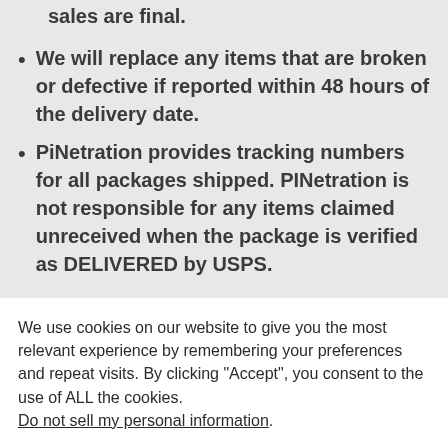sales are final.
We will replace any items that are broken or defective if reported within 48 hours of the delivery date.
PiNetration provides tracking numbers for all packages shipped. PINetration is not responsible for any items claimed unreceived when the package is verified as DELIVERED by USPS.
We use cookies on our website to give you the most relevant experience by remembering your preferences and repeat visits. By clicking “Accept”, you consent to the use of ALL the cookies. Do not sell my personal information.
Cookie settings | ACCEPT